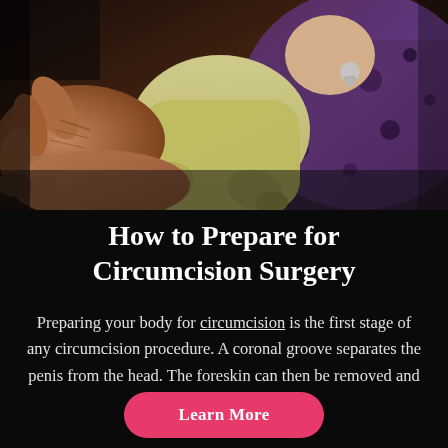[Figure (photo): Close-up photo of hands holding a newborn baby dressed in a yellow onesie with a pacifier, lying on a purple patterned fabric. Dark background. Warm skin tones of adult hands cradling the infant.]
How to Prepare for Circumcision Surgery
Preparing your body for circumcision is the first stage of any circumcision procedure. A coronal groove separates the penis from the head. The foreskin can then be removed and replaced ...
Learn More